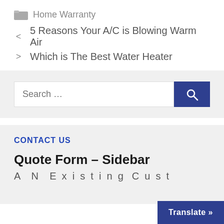Home Warranty
< 5 Reasons Your A/C is Blowing Warm Air
> Which is The Best Water Heater
[Figure (screenshot): Search bar with text input field and blue search button with magnifying glass icon]
CONTACT US
Quote Form – Sidebar
Translate »